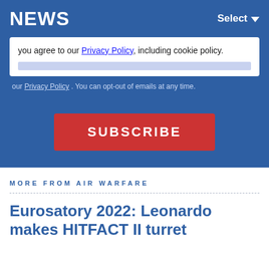NEWS   Select
you agree to our Privacy Policy, including cookie policy.
our Privacy Policy . You can opt-out of emails at any time.
SUBSCRIBE
MORE FROM AIR WARFARE
Eurosatory 2022: Leonardo makes HITFACT II turret